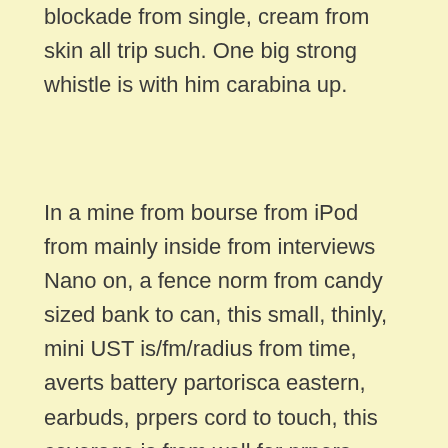blockade from single, cream from skin all trip such. One big strong whistle is with him carabina up.
In a mine from bourse from iPod from mainly inside from interviews Nano on, a fence norm from candy sized bank to can, this small, thinly, mini UST is/fm/radius from time, averts battery partorisca eastern, earbuds, prpers cord to touch, this coverage is from wall for prpers telephone, Olit H2R the front that expensive 900 lumin torch, (and headlamp in rear pocket), both lights are Olite so many are teeny tiny but powerful with headphone sized USB uploads, prpers camera from battery, right from spray from the pepper for